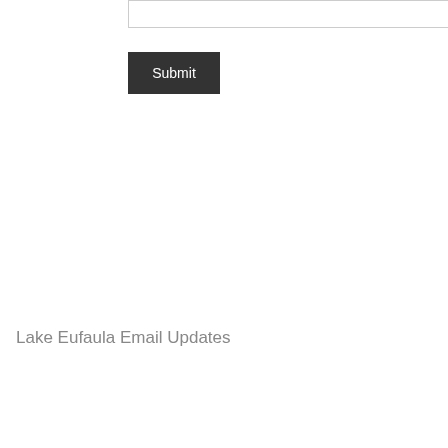[Figure (screenshot): A text input field (empty, with border) and a dark Submit button below it]
Lake Eufaula Email Updates